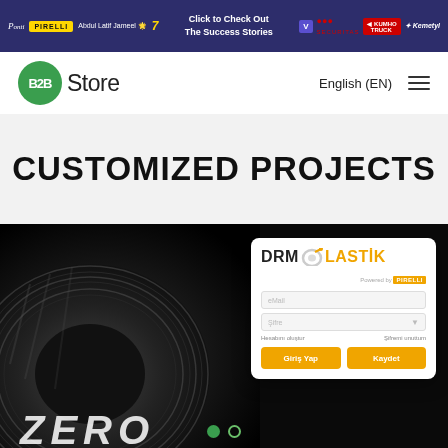Ponti | PIRELLI | Abdul Latif Jameel | 7 | Click to Check Out The Success Stories | SECURITAS | KUMHO TRUCK | Kemetyl
[Figure (logo): B2B Store logo with green icon and wordmark, plus English (EN) language selector and hamburger menu]
CUSTOMIZED PROJECTS
[Figure (screenshot): Dark background with Pirelli P Zero tire on the left, and DRM Lastik login card on the right with email/username input fields, Giriş Yap and Kaydet buttons, and carousel navigation dots at the bottom]